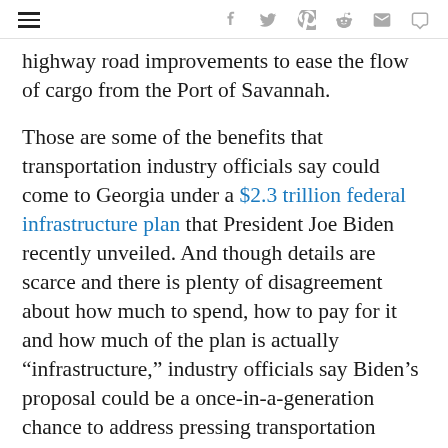Navigation and social share icons: hamburger menu, Facebook, Twitter, Pinterest, Reddit, Email, Comment
highway road improvements to ease the flow of cargo from the Port of Savannah.
Those are some of the benefits that transportation industry officials say could come to Georgia under a $2.3 trillion federal infrastructure plan that President Joe Biden recently unveiled. And though details are scarce and there is plenty of disagreement about how much to spend, how to pay for it and how much of the plan is actually “infrastructure,” industry officials say Biden’s proposal could be a once-in-a-generation chance to address pressing transportation needs.
Advertisement